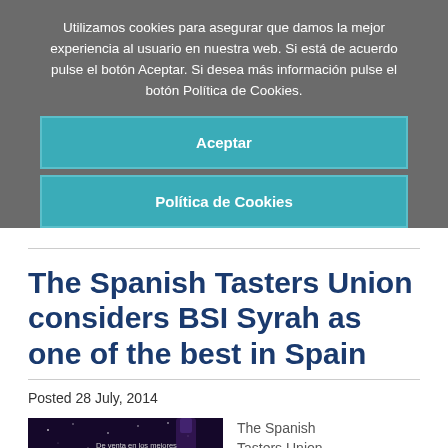Utilizamos cookies para asegurar que damos la mejor experiencia al usuario en nuestra web. Si está de acuerdo pulse el botón Aceptar. Si desea más información pulse el botón Política de Cookies.
Aceptar
Política de Cookies
The Spanish Tasters Union considers BSI Syrah as one of the best in Spain
Posted 28 July, 2014
[Figure (photo): Wine bottle with dark purple/black background, text reading 'Numun Galardonado BACO ORO 2013' and additional Spanish text]
The Spanish Tasters Union considers BSI